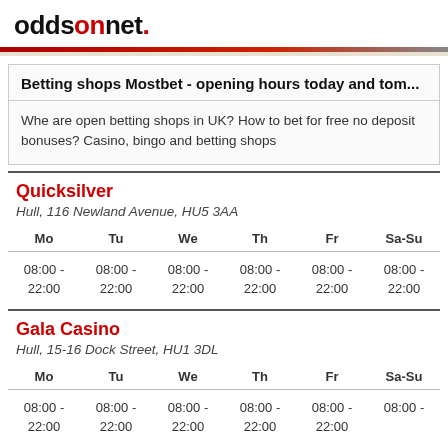oddsonnet.
Betting shops Mostbet - opening hours today and tom...
Whe are open betting shops in UK? How to bet for free no deposit bonuses? Casino, bingo and betting shops
Quicksilver
Hull, 116 Newland Avenue, HU5 3AA
| Mo | Tu | We | Th | Fr | Sa-Su |
| --- | --- | --- | --- | --- | --- |
| 08:00 - 22:00 | 08:00 - 22:00 | 08:00 - 22:00 | 08:00 - 22:00 | 08:00 - 22:00 | 08:00 - 22:00 |
Gala Casino
Hull, 15-16 Dock Street, HU1 3DL
| Mo | Tu | We | Th | Fr | Sa-Su |
| --- | --- | --- | --- | --- | --- |
| 08:00 - 22:00 | 08:00 - 22:00 | 08:00 - 22:00 | 08:00 - 22:00 | 08:00 - 22:00 | 08:00 - |